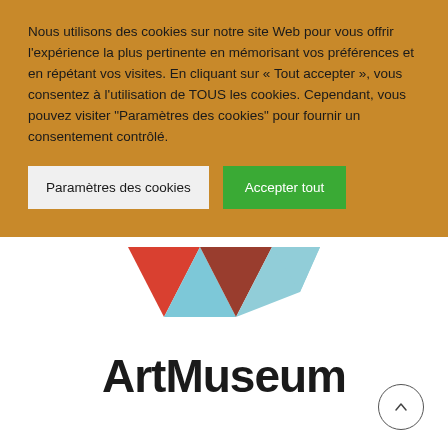Nous utilisons des cookies sur notre site Web pour vous offrir l'expérience la plus pertinente en mémorisant vos préférences et en répétant vos visites. En cliquant sur « Tout accepter », vous consentez à l'utilisation de TOUS les cookies. Cependant, vous pouvez visiter "Paramètres des cookies" pour fournir un consentement contrôlé.
Paramètres des cookies
Accepter tout
[Figure (logo): ArtMuseum logo: colorful geometric W-shape made of triangles in red, light blue, dark red/brown, and light blue, above the text 'ArtMuseum' in bold black]